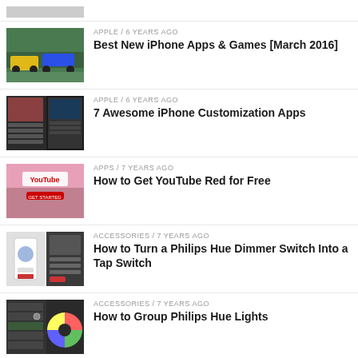[Figure (photo): Partial thumbnail at top, cropped]
APPLE / 6 years ago — Best New iPhone Apps & Games [March 2016]
APPLE / 6 years ago — 7 Awesome iPhone Customization Apps
APPS / 7 years ago — How to Get YouTube Red for Free
ACCESSORIES / 7 years ago — How to Turn a Philips Hue Dimmer Switch Into a Tap Switch
ACCESSORIES / 7 years ago — How to Group Philips Hue Lights
APPS / 7 years ago — How to Add Multiple Instagram Accounts on iPhone